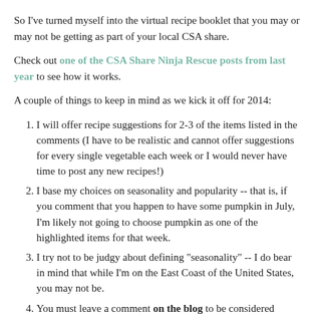So I've turned myself into the virtual recipe booklet that you may or may not be getting as part of your local CSA share.
Check out one of the CSA Share Ninja Rescue posts from last year to see how it works.
A couple of things to keep in mind as we kick it off for 2014:
I will offer recipe suggestions for 2-3 of the items listed in the comments (I have to be realistic and cannot offer suggestions for every single vegetable each week or I would never have time to post any new recipes!)
I base my choices on seasonality and popularity -- that is, if you comment that you happen to have some pumpkin in July, I'm likely not going to choose pumpkin as one of the highlighted items for that week.
I try not to be judgy about defining "seasonality" -- I do bear in mind that while I'm on the East Coast of the United States, you may not be.
You must leave a comment on the blog to be considered (sorry, Facebook or Pinterest comments